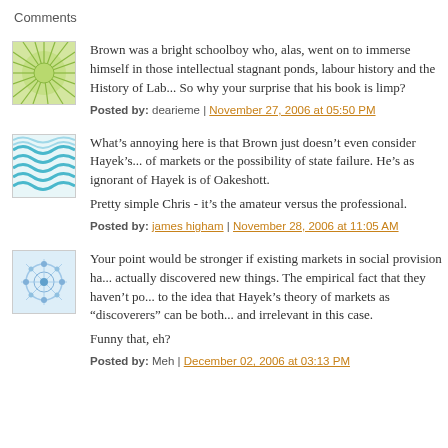Comments
Brown was a bright schoolboy who, alas, went on to immerse himself in those intellectual stagnant ponds, labour history and the History of Lab... So why your surprise that his book is limp?
Posted by: dearieme | November 27, 2006 at 05:50 PM
What's annoying here is that Brown just doesn't even consider Hayek's... of markets or the possibility of state failure. He's as ignorant of Hayek as he is of Oakeshott.

Pretty simple Chris - it's the amateur versus the professional.
Posted by: james higham | November 28, 2006 at 11:05 AM
Your point would be stronger if existing markets in social provision ha... actually discovered new things. The empirical fact that they haven't po... to the idea that Hayek's theory of markets as "discoverers" can be both... and irrelevant in this case.

Funny that, eh?
Posted by: Meh | December 02, 2006 at 03:13 PM